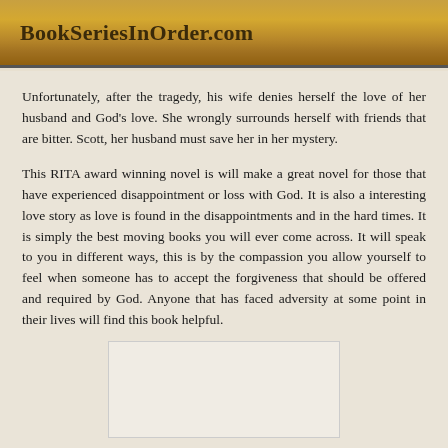BookSeriesInOrder.com
Unfortunately, after the tragedy, his wife denies herself the love of her husband and God's love. She wrongly surrounds herself with friends that are bitter. Scott, her husband must save her in her mystery.
This RITA award winning novel is will make a great novel for those that have experienced disappointment or loss with God. It is also a interesting love story as love is found in the disappointments and in the hard times. It is simply the best moving books you will ever come across. It will speak to you in different ways, this is by the compassion you allow yourself to feel when someone has to accept the forgiveness that should be offered and required by God. Anyone that has faced adversity at some point in their lives will find this book helpful.
[Figure (other): White rectangular image placeholder at the bottom of the page]